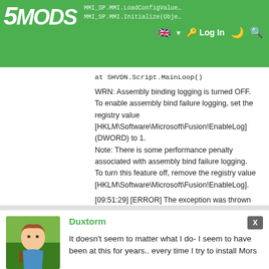5MODS header with navigation, Log In, language selector
at SHVDN.Script.MainLoop()

WRN: Assembly binding logging is turned OFF.
To enable assembly bind failure logging, set the registry value [HKLM\Software\Microsoft\Fusion!EnableLog] (DWORD) to 1.
Note: There is some performance penalty associated with assembly bind failure logging.
To turn this feature off, remove the registry value [HKLM\Software\Microsoft\Fusion!EnableLog].

[09:51:29] [ERROR] The exception was thrown while executing the script MMI_SP.MMI.
[09:51:29] [WARNING] Aborted script MMI_SP.MMI.
April 26, 2022
Duxtorm
It doesn't seem to matter what I do- I seem to have been at this for years.. every time I try to install Mors